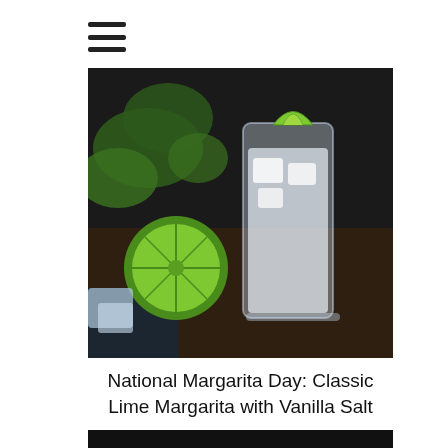[Figure (other): Hamburger menu icon — three horizontal bars]
[Figure (photo): A tall glass margarita drink with ice and a lime wedge on top, a halved lime on a dark surface with green leaves in the background]
National Margarita Day: Classic Lime Margarita with Vanilla Salt
[Figure (photo): Partial bottom image, dark background — bottom edge of page]